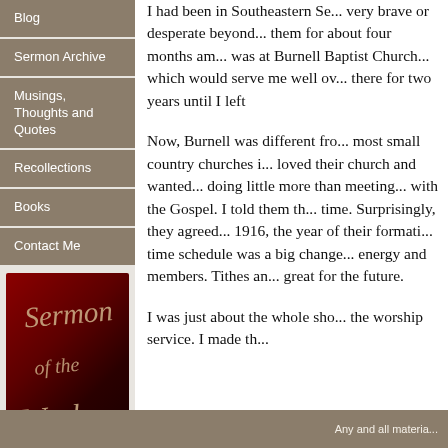Blog
Sermon Archive
Musings, Thoughts and Quotes
Recollections
Books
Contact Me
[Figure (illustration): Decorative image with dark red gradient background and cursive text reading 'Sermon of the Week']
I had been in Southeastern Se... very brave or desperate beyond... them for about four months am... was at Burnell Baptist Church... which would serve me well ov... there for two years until I left
Now, Burnell was different fro... most small country churches i... loved their church and wanted... doing little more than meeting... with the Gospel. I told them th... time. Surprisingly, they agreed... 1916, the year of their formati... time schedule was a big chang... energy and members. Tithes an... great for the future.
I was just about the whole sho... the worship service. I made th...
Any and all materia...